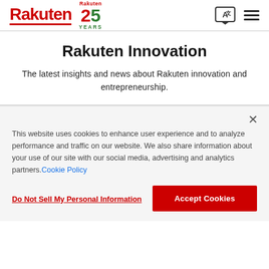Rakuten | Rakuten 25 YEARS
Rakuten Innovation
The latest insights and news about Rakuten innovation and entrepreneurship.
This website uses cookies to enhance user experience and to analyze performance and traffic on our website. We also share information about your use of our site with our social media, advertising and analytics partners. Cookie Policy
Do Not Sell My Personal Information
Accept Cookies